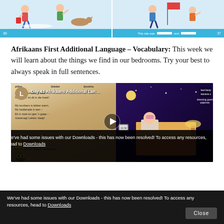[Figure (illustration): Top portion showing illustrated children's book pages with cartoon children playing, with a blue bar at the bottom of the image strip.]
Afrikaans First Additional Language – Vocabulary: This week we will learn about the things we find in our bedrooms. Try your best to always speak in full sentences.
[Figure (screenshot): Video thumbnail for 'Day 43 Afrikaans Additional Lan...' showing a bedroom scene illustration with Afrikaans text overlaid, a play button in the center, and a channel icon 'L' in the top left.]
We've had some issues with our Downloads - this has now been resolved! To access any resources, head to Downloads